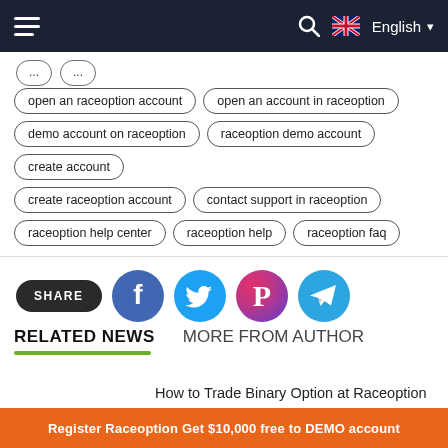English
open an raceoption account
open an account in raceoption
demo account on raceoption
raceoption demo account
create account
create raceoption account
contact support in raceoption
raceoption help center
raceoption help
raceoption faq
[Figure (infographic): Share buttons row: SHARE label (dark pill), Facebook (blue circle with f), Twitter (blue circle with bird), Pinterest (pink/purple circle with P), Telegram (blue circle with paper plane)]
RELATED NEWS
MORE FROM AUTHOR
How to Trade Binary Option at Raceoption
Register Raceoption Get $10,000 free to DEMO account